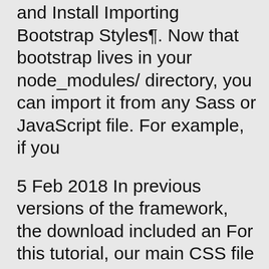and Install Importing Bootstrap Styles¶. Now that bootstrap lives in your node_modules/ directory, you can import it from any Sass or JavaScript file. For example, if you
5 Feb 2018 In previous versions of the framework, the download included an For this tutorial, our main CSS file will be bootstrap.css , and we must
The most popular HTML, CSS, and JavaScript framework for developing responsive Within the download you'll find the following directories